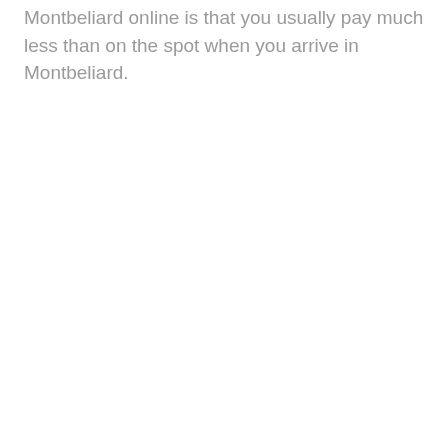Montbeliard online is that you usually pay much less than on the spot when you arrive in Montbeliard.